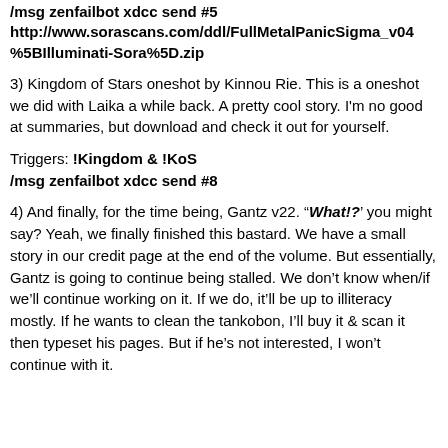/msg zenfailbot xdcc send #5
http://www.sorascans.com/ddl/FullMetalPanicSigma_v04%5BIlluminati-Sora%5D.zip
3) Kingdom of Stars oneshot by Kinnou Rie. This is a oneshot we did with Laika a while back. A pretty cool story. I'm no good at summaries, but download and check it out for yourself.
Triggers: !Kingdom & !KoS
/msg zenfailbot xdcc send #8
4) And finally, for the time being, Gantz v22. "What!?" you might say? Yeah, we finally finished this bastard. We have a small story in our credit page at the end of the volume. But essentially, Gantz is going to continue being stalled. We don't know when/if we'll continue working on it. If we do, it'll be up to illiteracy mostly. If he wants to clean the tankobon, I'll buy it & scan it then typeset his pages. But if he's not interested, I won't continue with it.